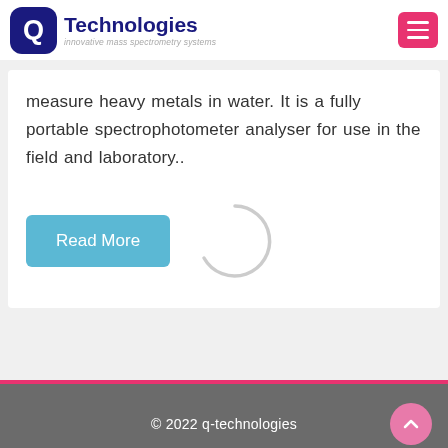Q Technologies — innovative mass spectrometry systems
measure heavy metals in water. It is a fully portable spectrophotometer analyser for use in the field and laboratory..
[Figure (other): Loading spinner arc graphic (gray partial circle)]
© 2022 q-technologies